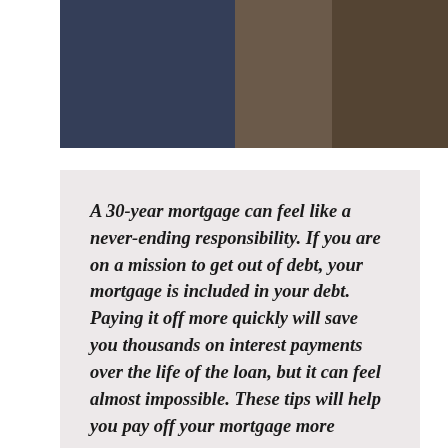[Figure (photo): Overhead photo of a person in a blue suit working at a wooden desk with papers, a laptop/calculator, notebook, and smartphone visible]
A 30-year mortgage can feel like a never-ending responsibility. If you are on a mission to get out of debt, your mortgage is included in your debt. Paying it off more quickly will save you thousands on interest payments over the life of the loan, but it can feel almost impossible. These tips will help you pay off your mortgage more